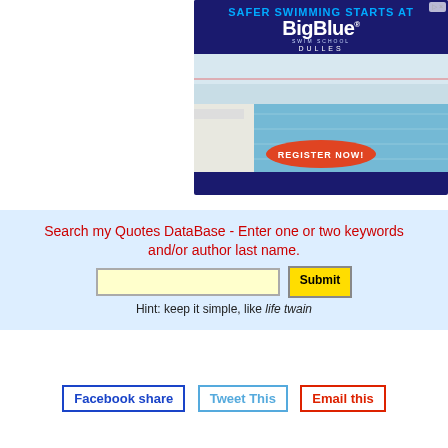[Figure (advertisement): BigBlue Swim School Dulles advertisement. Navy blue background with text 'SAFER SWIMMING STARTS AT' in blue, 'BigBlue SWIM SCHOOL DULLES' in white, an indoor swimming pool photo, and a red 'REGISTER NOW!' button.]
Search my Quotes DataBase - Enter one or two keywords and/or author last name.
Hint: keep it simple, like life twain
Facebook share   Tweet This   Email this